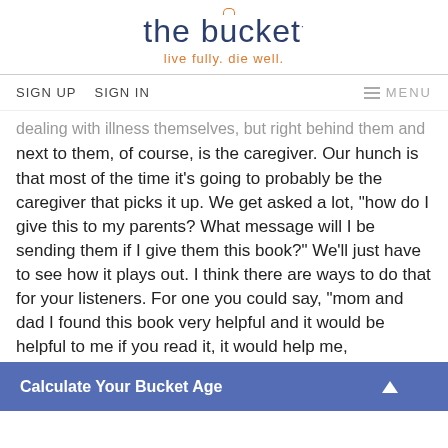the bucket — live fully. die well.
SIGN UP   SIGN IN   ≡ MENU
dealing with illness themselves, but right behind them and next to them, of course, is the caregiver. Our hunch is that most of the time it's going to probably be the caregiver that picks it up. We get asked a lot, "how do I give this to my parents? What message will I be sending them if I give them this book?" We'll just have to see how it plays out. I think there are ways to do that for your listeners. For one you could say, "mom and dad I found this book very helpful and it would be helpful to me if you read it, it would help me, … me a… that'
[Figure (other): Blue CTA banner: Calculate Your Bucket Age with upward triangle arrow]
Davi
direc